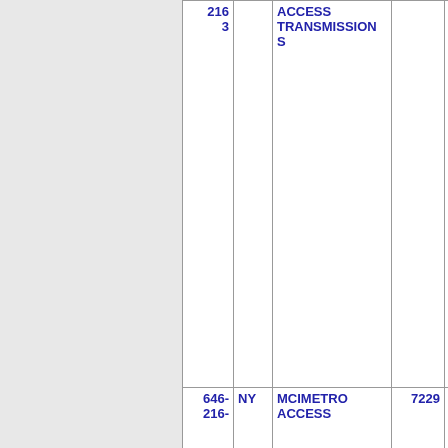| Number | State | Name | Code | Other |
| --- | --- | --- | --- | --- |
| 216
3 |  | ACCESS TRANSMISSIONS |  |  |
| 646-216- | NY | MCIMETRO ACCESS | 7229 | NWY |